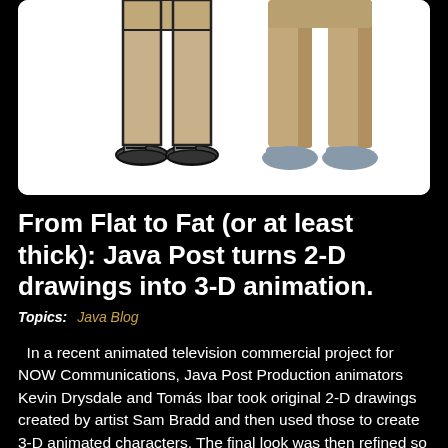[Figure (illustration): Illustration showing cartoon character legs/lower bodies side by side — on the left a 2-D flat drawing of two legs with sandals (black outlines), and on the right a 3-D rendered version of two legs with grey shoes, both wearing tan/khaki trousers.]
From Flat to Fat (or at least thick): Java Post turns 2-D drawings into 3-D animation.
Topics:  Java Blog
In a recent animated television commercial project for NOW Communications, Java Post Production animators Kevin Drysdale and Tomás Ibar took original 2-D drawings created by artist Sam Bradd and then used those to create 3-D animated characters. The final look was then refined so that the characters would retain some of the 2-D feel of Sam Bradd's original drawings. The